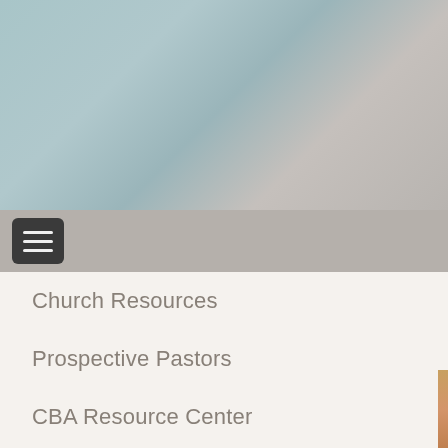[Figure (photo): Blurred hero banner image with blue-grey and warm grey tones]
[Figure (illustration): Mobile navigation bar with dark hamburger menu button on grey background]
Church Resources
Prospective Pastors
CBA Resource Center
Becoming a Christian
Pastor Supply List
Religious News
Tax Information
Convention Information
Church Openings